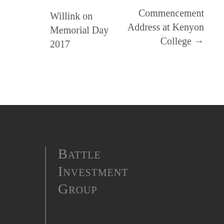Willink on Memorial Day 2017
Commencement Address at Kenyon College →
[Figure (logo): Battle Investment Group logo with vertical bar and text in small-caps serif on dark background]